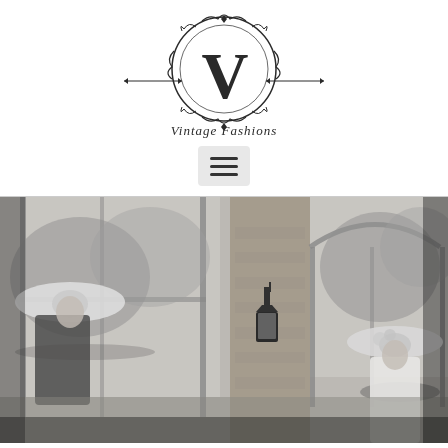[Figure (logo): Vintage Fashions logo — ornate circular emblem with a large V in the center, decorative scrollwork border, horizontal flourish lines, and 'Vintage Fashions' text in italic below]
[Figure (photo): Black and white photograph of women in vintage fashion with large decorative hats, standing near large French windows in a rustic stone building. An antique wall lantern is visible between the windows, with garden greenery visible outside.]